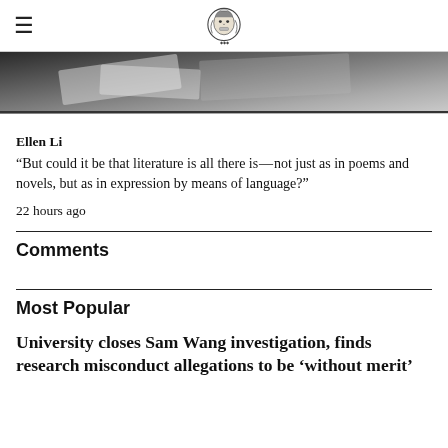The Chronicle of Higher Education
[Figure (photo): Partial view of a photograph, showing papers or documents in a dark/light contrast scene]
Ellen Li
“But could it be that literature is all there is — not just as in poems and novels, but as in expression by means of language?”
22 hours ago
Comments
Most Popular
University closes Sam Wang investigation, finds research misconduct allegations to be ‘without merit’